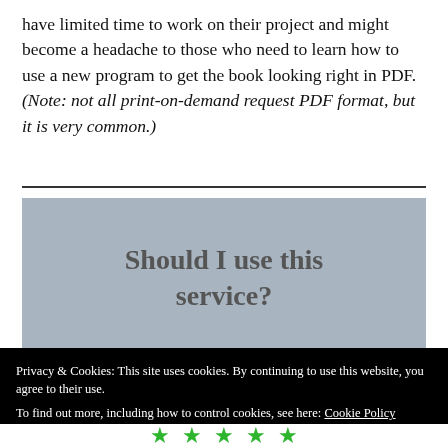have limited time to work on their project and might become a headache to those who need to learn how to use a new program to get the book looking right in PDF. (Note: not all print-on-demand request PDF format, but it is very common.)
[Figure (other): Grey banner box with large text heading 'Should I use this service?']
Privacy & Cookies: This site uses cookies. By continuing to use this website, you agree to their use. To find out more, including how to control cookies, see here: Cookie Policy
Close and accept